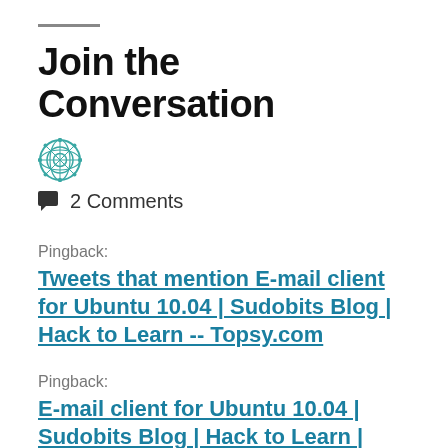Join the Conversation
[Figure (logo): Teal decorative mandala/geometric pattern logo icon]
2 Comments
Pingback:
Tweets that mention E-mail client for Ubuntu 10.04 | Sudobits Blog | Hack to Learn -- Topsy.com
Pingback:
E-mail client for Ubuntu 10.04 | Sudobits Blog | Hack to Learn | Yoobz.com